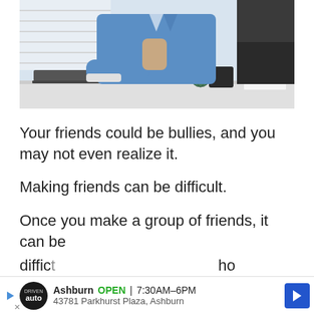[Figure (photo): A man in a blue dress shirt sitting at a desk, leaning forward with hand on chin in a thoughtful pose. Another person stands behind him. A desk with laptop, globe, and notebook is visible.]
Your friends could be bullies, and you may not even realize it.
Making friends can be difficult.
Once you make a group of friends, it can be diffic[...] ho